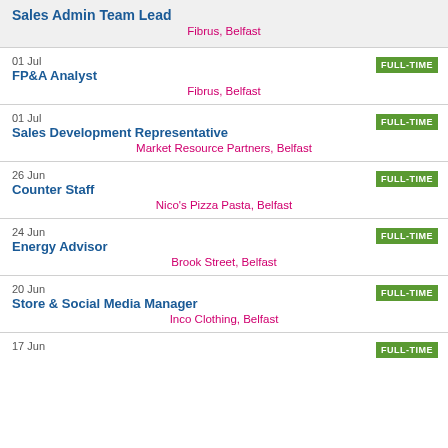Sales Admin Team Lead
Fibrus, Belfast
01 Jul
FP&A Analyst
Fibrus, Belfast
FULL-TIME
01 Jul
Sales Development Representative
Market Resource Partners, Belfast
FULL-TIME
26 Jun
Counter Staff
Nico's Pizza Pasta, Belfast
FULL-TIME
24 Jun
Energy Advisor
Brook Street, Belfast
FULL-TIME
20 Jun
Store & Social Media Manager
Inco Clothing, Belfast
FULL-TIME
17 Jun
FULL-TIME